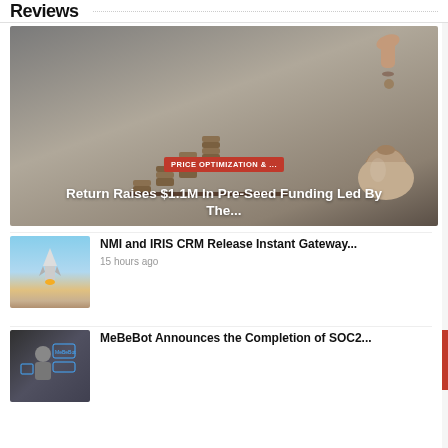Reviews
[Figure (photo): Hand dropping a coin into a burlap money bag with stacked coins around it, dark moody background]
PRICE OPTIMIZATION & ...
Return Raises $1.1M In Pre-Seed Funding Led By The...
[Figure (photo): Rocket launching into blue sky]
NMI and IRIS CRM Release Instant Gateway...
15 hours ago
[Figure (photo): Technology interface with person and data overlays]
MeBeBot Announces the Completion of SOC2...